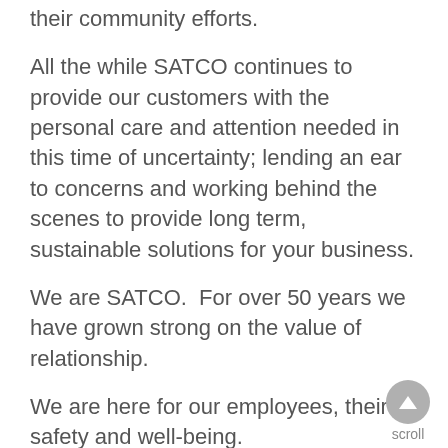their community efforts.
All the while SATCO continues to provide our customers with the personal care and attention needed in this time of uncertainty; lending an ear to concerns and working behind the scenes to provide long term, sustainable solutions for your business.
We are SATCO.  For over 50 years we have grown strong on the value of relationship.
We are here for our employees, their safety and well-being.
We are here for our customer, creating solutions for the continuation of healthy business while servicing your lighting needs today.